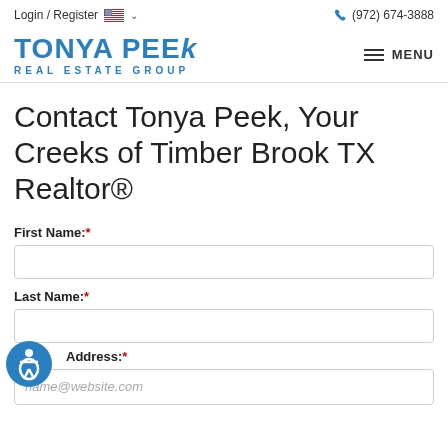Login / Register  (972) 674-3888
TONYA PEEK REAL ESTATE GROUP
Contact Tonya Peek, Your Creeks of Timber Brook TX Realtor®
First Name:*
Last Name:*
Address:*
name@website.com